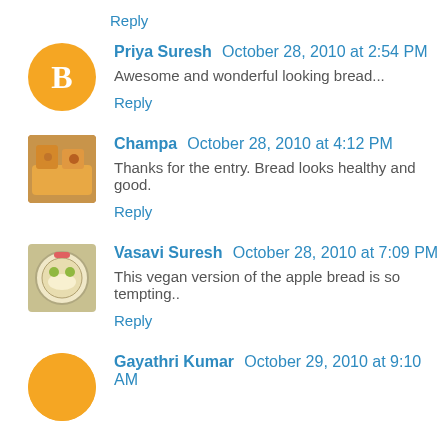Reply
Priya Suresh  October 28, 2010 at 2:54 PM
Awesome and wonderful looking bread...
Reply
Champa  October 28, 2010 at 4:12 PM
Thanks for the entry. Bread looks healthy and good.
Reply
Vasavi Suresh  October 28, 2010 at 7:09 PM
This vegan version of the apple bread is so tempting..
Reply
Gayathri Kumar  October 29, 2010 at 9:10 AM